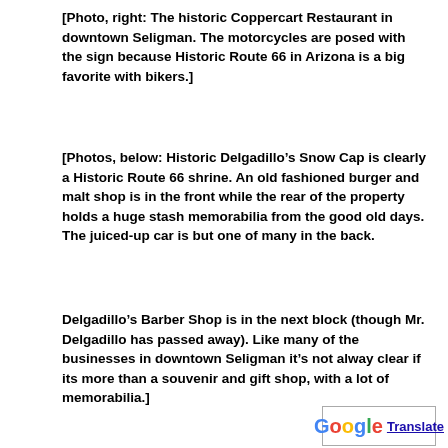[Photo, right: The historic Coppercart Restaurant in downtown Seligman. The motorcycles are posed with the sign because Historic Route 66 in Arizona is a big favorite with bikers.]
[Photos, below: Historic Delgadillo's Snow Cap is clearly a Historic Route 66 shrine. An old fashioned burger and malt shop is in the front while the rear of the property holds a huge stash memorabilia from the good old days. The juiced-up car is but one of many in the back.
Delgadillo's Barber Shop is in the next block (though Mr. Delgadillo has passed away). Like many of the businesses in downtown Seligman it's not alway clear if its more than a souvenir and gift shop, with a lot of memorabilia.]
[Figure (photo): Outdoor photo showing an American flag on a pole, trees, a burger restaurant sign reading 'BURGE' visible at bottom, blue sky background, appears to be Delgadillo's Snow Cap in Seligman, Arizona.]